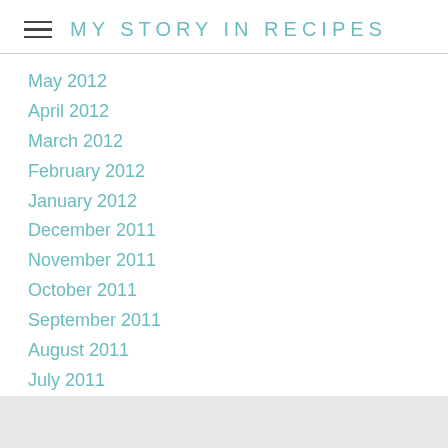MY STORY IN RECIPES
May 2012
April 2012
March 2012
February 2012
January 2012
December 2011
November 2011
October 2011
September 2011
August 2011
July 2011